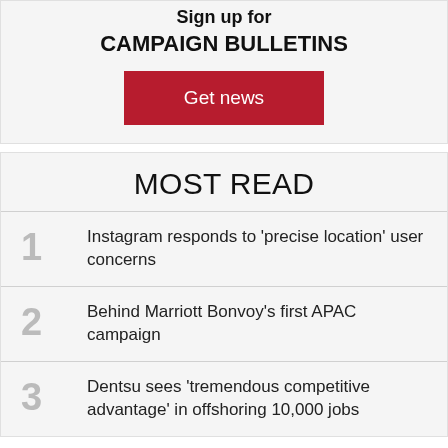Sign up for CAMPAIGN BULLETINS
Get news
MOST READ
1 Instagram responds to 'precise location' user concerns
2 Behind Marriott Bonvoy's first APAC campaign
3 Dentsu sees 'tremendous competitive advantage' in offshoring 10,000 jobs